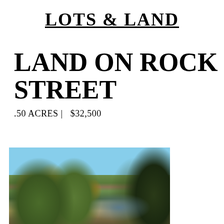LOTS & LAND
LAND ON ROCK STREET
.50 ACRES |   $32,500
[Figure (photo): Outdoor autumn landscape photo showing a wooded lot with trees displaying fall foliage in yellow, orange and green, with a blue sky and mountain visible in the background through the trees.]